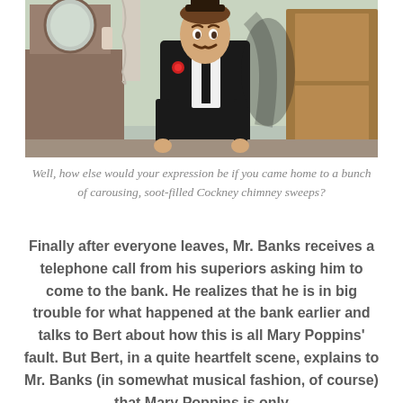[Figure (photo): A man in a black suit with a red flower boutonniere, appearing shocked or stern, standing in an interior room setting. Scene appears to be from the movie Mary Poppins featuring Mr. Banks.]
Well, how else would your expression be if you came home to a bunch of carousing, soot-filled Cockney chimney sweeps?
Finally after everyone leaves, Mr. Banks receives a telephone call from his superiors asking him to come to the bank. He realizes that he is in big trouble for what happened at the bank earlier and talks to Bert about how this is all Mary Poppins' fault. But Bert, in a quite heartfelt scene, explains to Mr. Banks (in somewhat musical fashion, of course) that Mary Poppins is only